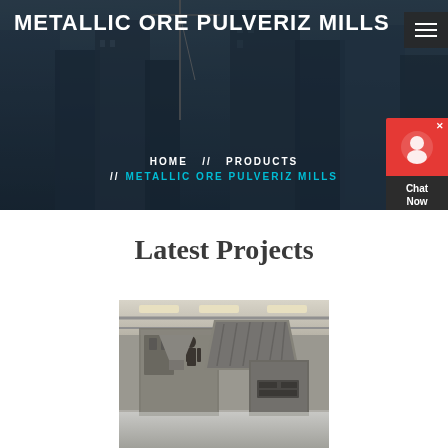METALLIC ORE PULVERIZ MILLS
HOME // PRODUCTS // METALLIC ORE PULVERIZ MILLS
Latest Projects
[Figure (photo): Industrial ore pulverizing mill machinery in a plant facility, showing large mechanical equipment with metal frameworks and conveyor systems.]